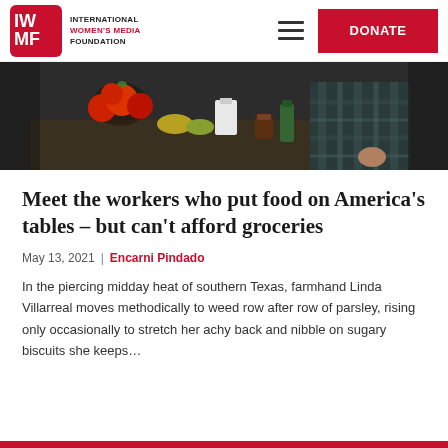INTERNATIONAL WOMEN'S MEDIA FOUNDATION | DONATE
[Figure (photo): A person in a plaid shirt standing at a table with tomatoes and various vegetables and kitchen items, photographed in dim indoor lighting.]
Meet the workers who put food on America's tables – but can't afford groceries
May 13, 2021 | Encarni Pindado
In the piercing midday heat of southern Texas, farmhand Linda Villarreal moves methodically to weed row after row of parsley, rising only occasionally to stretch her achy back and nibble on sugary biscuits she keeps…